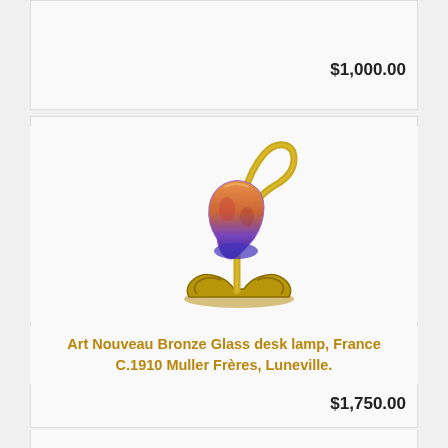$1,000.00
[Figure (photo): Art Nouveau bronze desk lamp with a colorful glass shade (blue and orange/pink tones), France C.1910, on decorative bronze base with curved arm]
Art Nouveau Bronze Glass desk lamp, France C.1910 Muller Frères, Luneville.
$1,750.00